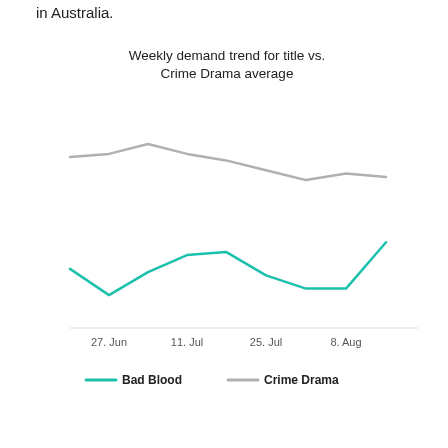in Australia.
[Figure (line-chart): Weekly demand trend for title vs. Crime Drama average]